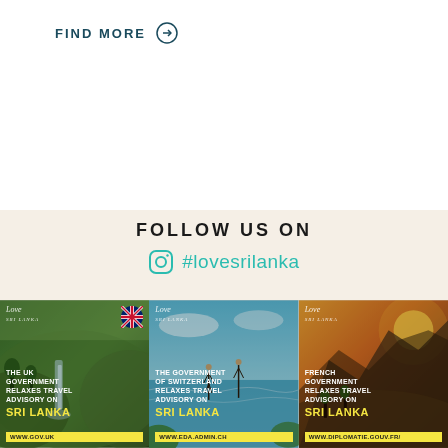FIND MORE →
FOLLOW US ON
#lovesrilanka
[Figure (photo): Three social media cards showing Sri Lanka travel advisory relaxation news. Card 1 (UK): Tea plantation waterfall scene with UK flag, text 'THE UK GOVERNMENT RELAXES TRAVEL ADVISORY ON SRI LANKA', URL www.gov.uk. Card 2 (Switzerland): Beach/ocean scene with stilt fishermen, text 'THE GOVERNMENT OF SWITZERLAND RELAXES TRAVEL ADVISORY ON SRI LANKA', URL www.eda.admin.ch. Card 3 (France): Mountain sunset landscape, text 'FRENCH GOVERNMENT RELAXES TRAVEL ADVISORY ON SRI LANKA', URL www.diplomatie.gouv.fr/]